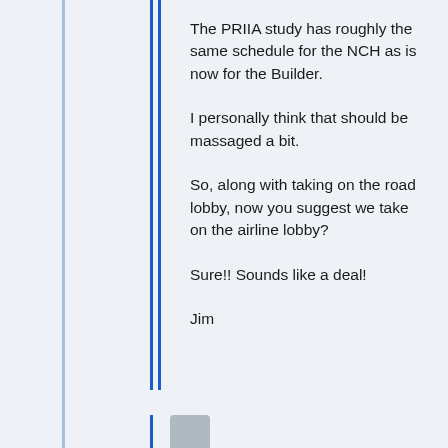The PRIIA study has roughly the same schedule for the NCH as is now for the Builder.
I personally think that should be massaged a bit.
So, along with taking on the road lobby, now you suggest we take on the airline lobby?
Sure!! Sounds like a deal!
Jim